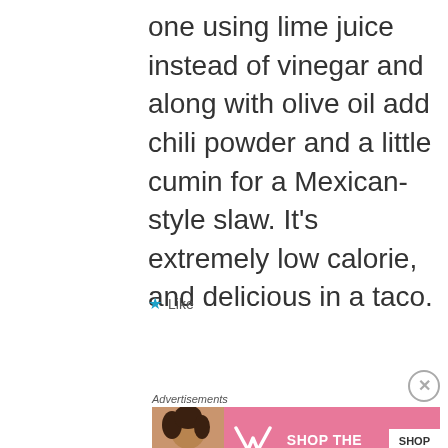one using lime juice instead of vinegar and along with olive oil add chili powder and a little cumin for a Mexican-style slaw. It’s extremely low calorie, and delicious in a taco.
★ Like
[Figure (other): Victoria's Secret advertisement banner with model, VS logo, 'SHOP THE COLLECTION' text and 'SHOP NOW' button]
Advertisements